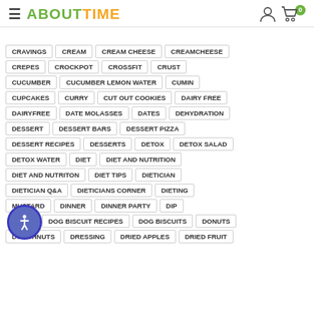ABOUTTIME — navigation header with hamburger menu, logo, user icon, cart icon with badge 0
CRAVINGS
CREAM
CREAM CHEESE
CREAMCHEESE
CREPES
CROCKPOT
CROSSFIT
CRUST
CUCUMBER
CUCUMBER LEMON WATER
CUMIN
CUPCAKES
CURRY
CUT OUT COOKIES
DAIRY FREE
DAIRYFREE
DATE MOLASSES
DATES
DEHYDRATION
DESSERT
DESSERT BARS
DESSERT PIZZA
DESSERT RECIPES
DESSERTS
DETOX
DETOX SALAD
DETOX WATER
DIET
DIET AND NUTRITION
DIET AND NUTRITON
DIET TIPS
DIETICIAN
DIETICIAN Q&A
DIETICIANS CORNER
DIETING
DIJON MUSTARD
DINNER
DINNER PARTY
DIP
DOG BISCUIT RECIPES
DOG BISCUITS
DONUTS
DOUGHNUTS
DRESSING
DRIED APPLES
DRIED FRUIT